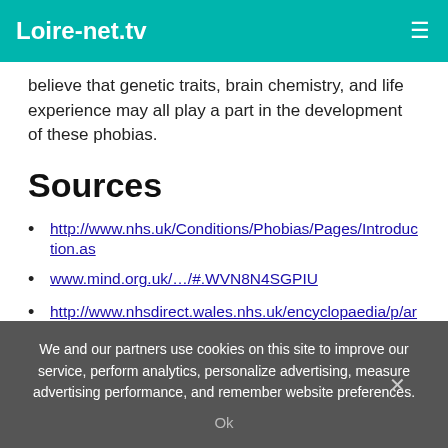Loire-net.tv
believe that genetic traits, brain chemistry, and life experience may all play a part in the development of these phobias.
Sources
http://www.nhs.uk/Conditions/Phobias/Pages/Introduction.as
www.mind.org.uk/.../#.WVN8N4SGPIU
http://www.nhsdirect.wales.nhs.uk/encyclopaedia/p/article/ph
http://www.phobics-society.org.uk/causes-of-phobias/
https://medlineplus.gov/ency/article/000956.htm
https://www.ncbi.nlm.nih.gov/pubmed/8370799
We and our partners use cookies on this site to improve our service, perform analytics, personalize advertising, measure advertising performance, and remember website preferences.